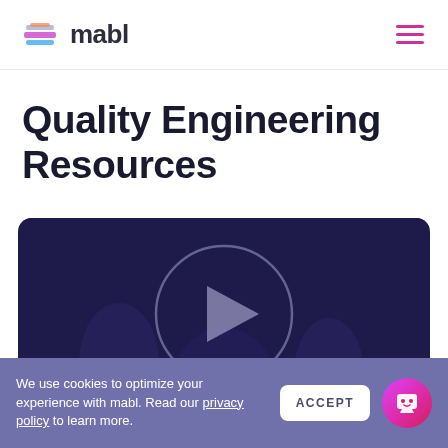mabl
Quality Engineering Resources
[Figure (screenshot): Video player with dark navy background and a circular play button in the center]
We use cookies to optimize your experience with mabl. Read our privacy policy to learn more.